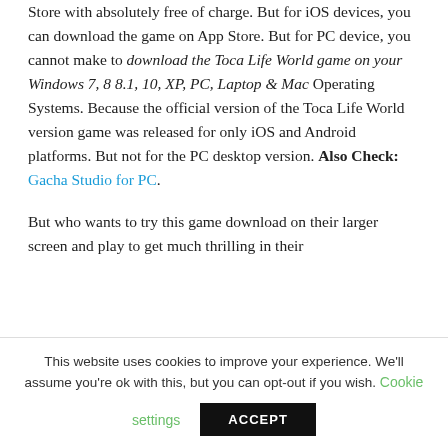Store with absolutely free of charge. But for iOS devices, you can download the game on App Store. But for PC device, you cannot make to download the Toca Life World game on your Windows 7, 8 8.1, 10, XP, PC, Laptop & Mac Operating Systems. Because the official version of the Toca Life World version game was released for only iOS and Android platforms. But not for the PC desktop version. Also Check: Gacha Studio for PC.
But who wants to try this game download on their larger screen and play to get much thrilling in their
This website uses cookies to improve your experience. We'll assume you're ok with this, but you can opt-out if you wish. Cookie settings ACCEPT